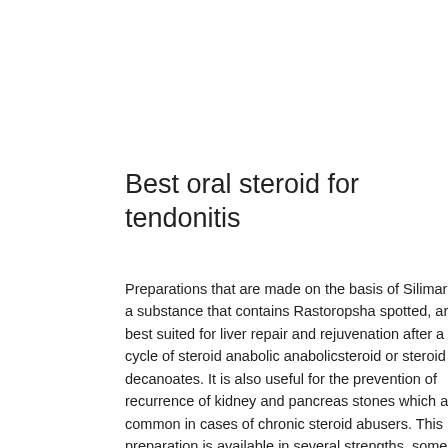Best oral steroid for tendonitis
Preparations that are made on the basis of Silimarin, a substance that contains Rastoropsha spotted, are best suited for liver repair and rejuvenation after a cycle of steroid anabolic anabolicsteroid or steroid decanoates. It is also useful for the prevention of recurrence of kidney and pancreas stones which are common in cases of chronic steroid abusers. This preparation is available in several strengths, some available in the pharmacy and some in the pharmacist's clinic and the chemist can easily prepare